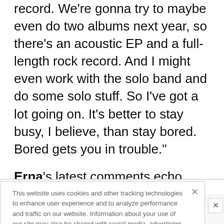record. We're gonna try to maybe even do two albums next year, so there's an acoustic EP and a full-length rock record. And I might even work with the solo band and do some solo stuff. So I've got a lot going on. It's better to stay busy, I believe, than stay bored. Bored gets you in trouble."
Erna's latest comments echo those he made last
This website uses cookies and other tracking technologies to enhance user experience and to analyze performance and traffic on our website. Information about your use of our site may also be shared with social media, advertising, retail and analytics providers and partners. Privacy Policy
[Figure (infographic): Bloodbath advertisement banner: album artwork on left, BLOODBATH in large blue text, 'SURVIVAL OF THE SICKEST' subtitle, OUT SEP 9th on black background]